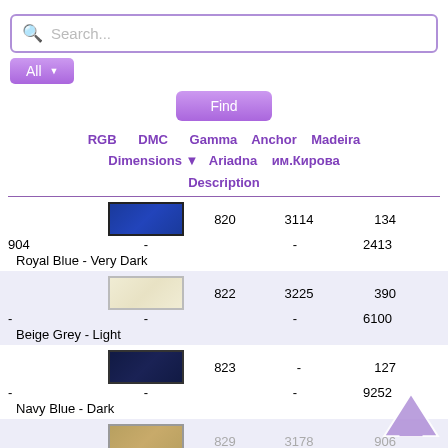[Figure (screenshot): Search bar with purple border and magnifying glass icon showing 'Search...' placeholder text]
[Figure (screenshot): Purple 'All' dropdown button]
[Figure (screenshot): Purple 'Find' button]
RGB   DMC   Gamma   Anchor   Madeira
Dimensions ▼   Ariadna   им.Кирова
Description
| RGB (swatch) | DMC | Gamma | Anchor | Madeira | Dimensions | Ariadna | им.Кирова | Description |
| --- | --- | --- | --- | --- | --- | --- | --- | --- |
| [Royal Blue swatch] | 820 | 3114 | 134 | 904 | - | - | 2413 | Royal Blue - Very Dark |
| [Beige Grey swatch] | 822 | 3225 | 390 | - | - | - | 6100 | Beige Grey - Light |
| [Navy Blue swatch] | 823 | - | 127 | - | - | - | 9252 | Navy Blue - Dark |
| [Golden Olive swatch] | 829 | 3178 | 906 | 2114 | - | - | 5305 | Golden Olive - Very Dark |